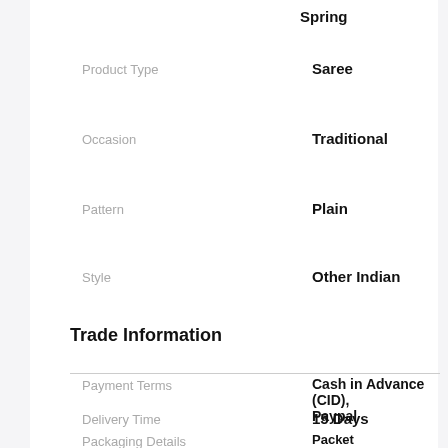Spring
| Attribute | Value |
| --- | --- |
| Product Type | Saree |
| Occasion | Traditional |
| Pattern | Plain |
| Style | Other Indian |
Trade Information
| Attribute | Value |
| --- | --- |
| Payment Terms | Cash in Advance (CID), Paypal |
| Delivery Time | 15 Days |
| Packaging Details | Packet |
| Main Export Market(s) | Asia, Australia, Central |